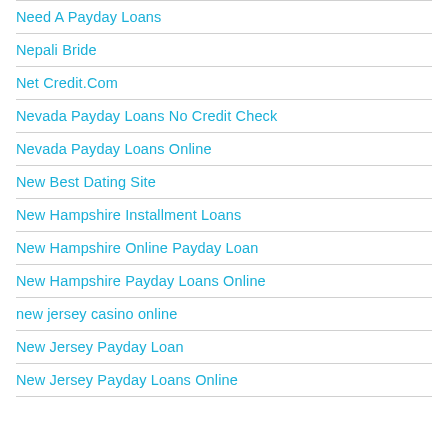Need A Payday Loans
Nepali Bride
Net Credit.Com
Nevada Payday Loans No Credit Check
Nevada Payday Loans Online
New Best Dating Site
New Hampshire Installment Loans
New Hampshire Online Payday Loan
New Hampshire Payday Loans Online
new jersey casino online
New Jersey Payday Loan
New Jersey Payday Loans Online